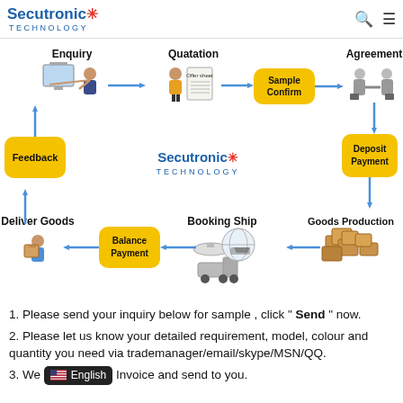Secutronic TECHNOLOGY
[Figure (flowchart): Business process flowchart showing: Enquiry → Quatation → Sample Confirm → Agreement → Deposit Payment → Goods Production → Booking Ship → Balance Payment → Deliver Goods → Feedback (loop). Center shows Secutronic Technology logo.]
1. Please send your inquiry below for sample , click " Send " now.
2. Please let us know your detailed requirement, model, colour and quantity you need via trademanager/email/skype/MSN/QQ.
3. We [English] Invoice and send to you.